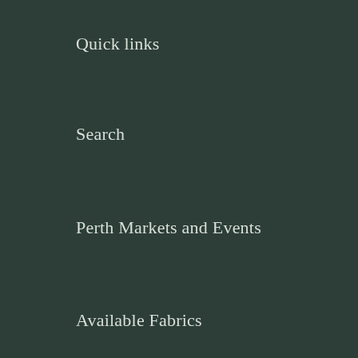Quick links
Search
Perth Markets and Events
Available Fabrics
FAQ's
Size Chart
About Us
Get in Touch!
Terms of Service